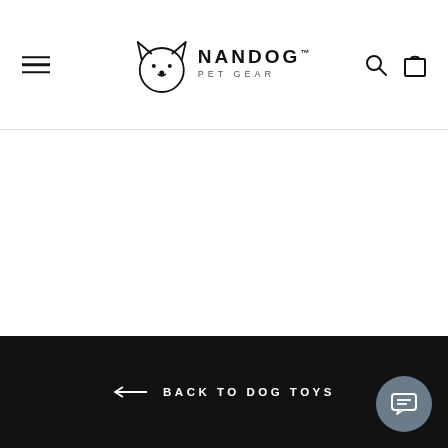NANDOG PET GEAR
← BACK TO DOG TOYS